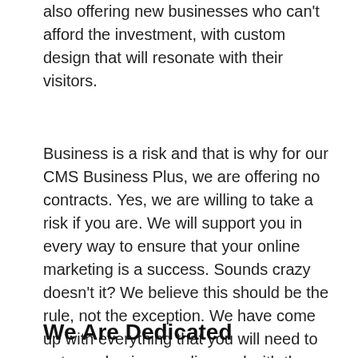also offering new businesses who can't afford the investment, with custom design that will resonate with their visitors.
Business is a risk and that is why for our CMS Business Plus, we are offering no contracts. Yes, we are willing to take a risk if you are. We will support you in every way to ensure that your online marketing is a success. Sounds crazy doesn't it? We believe this should be the rule, not the exception. We have come up with everything that you will need to get your business online and with the support you needs.
We Are Dedicated